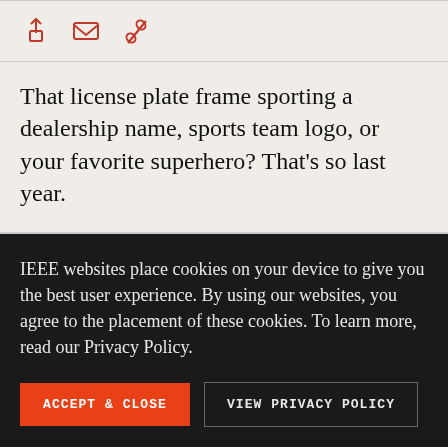[Figure (other): Three icons in orange/red: share/upload icon, envelope/mail icon, and chain link/edit icon]
That license plate frame sporting a dealership name, sports team logo, or your favorite superhero? That’s so last year.
IEEE websites place cookies on your device to give you the best user experience. By using our websites, you agree to the placement of these cookies. To learn more, read our Privacy Policy.
ACCEPT & CLOSE
VIEW PRIVACY POLICY